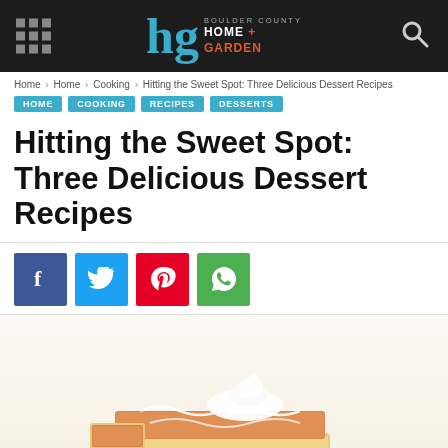Boulder County Home + Garden
Home › Home › Cooking › Hitting the Sweet Spot: Three Delicious Dessert Recipes
HOME  COOKING  RECIPES  DESSERTS
Hitting the Sweet Spot: Three Delicious Dessert Recipes
[Figure (screenshot): Social share buttons: Facebook (blue), Twitter (cyan), Pinterest (red), WhatsApp (green)]
[Figure (photo): A slice of pumpkin pie bar with whipped cream on top, drizzled with white icing, dusted with cinnamon, on a white background]